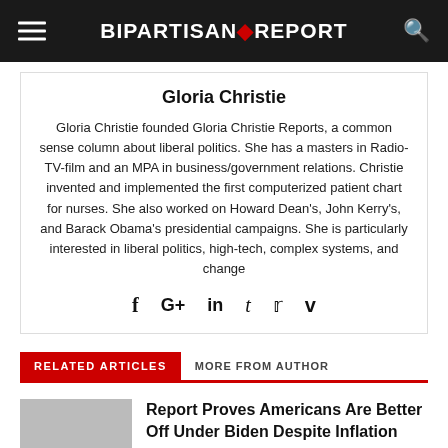BIPARTISAN REPORT
Gloria Christie
Gloria Christie founded Gloria Christie Reports, a common sense column about liberal politics. She has a masters in Radio-TV-film and an MPA in business/government relations. Christie invented and implemented the first computerized patient chart for nurses. She also worked on Howard Dean's, John Kerry's, and Barack Obama's presidential campaigns. She is particularly interested in liberal politics, high-tech, complex systems, and change
[Figure (other): Social media icons: Facebook (f), Google+ (G+), LinkedIn (in), Tumblr (t), Twitter bird, Vimeo (v)]
RELATED ARTICLES   MORE FROM AUTHOR
Report Proves Americans Are Better Off Under Biden Despite Inflation